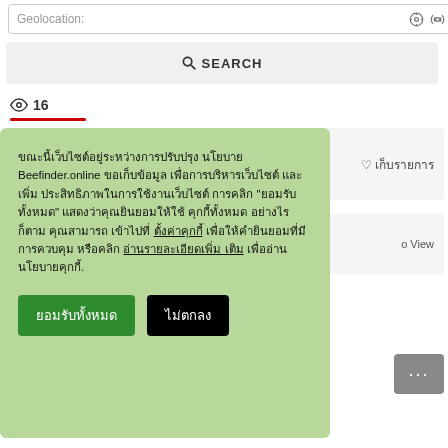Geolocation:
[Figure (screenshot): Search bar with magnifying glass icon and SEARCH label]
16
ขณะนี้เว็บไซต์อยู่ระหว่างการปรับปรุงนโยบาย Beefinder.online ขอเก็บข้อมูลเพื่อการบริหารเว็บไซต์ และเพิ่มประสิทธิภาพในการใช้งานเว็บไซต์ การคลิก "ยอมรับทั้งหมด" แสดงว่าคุณยินยอมให้ใช้คุกกี้ทั้งหมด อย่างไรก็ตาม คุณสามารถเข้าไปที่ ตั้งค่าคุกกี้ เพื่อให้คำยินยอมที่มีการควบคุม หรือคลิก อ่านรายละเอียดเพิ่มเติม เพื่ออ่านนโยบายคุกกี้.
ยอมรับทั้งหมด
ไม่ตกลง
เก็บรายการ
o View
ระบบไฟฟ้า-สือสาร-ความปลอดภัย / มาตรวัดไฟฟ้า